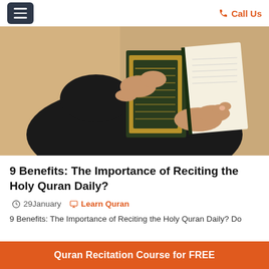Call Us
[Figure (photo): Hands holding an open ornate Quran book with golden decorative cover, person wearing dark clothing, warm beige wall background]
9 Benefits: The Importance of Reciting the Holy Quran Daily?
29January   Learn Quran
9 Benefits: The Importance of Reciting the Holy Quran Daily? Do
Quran Recitation Course for FREE